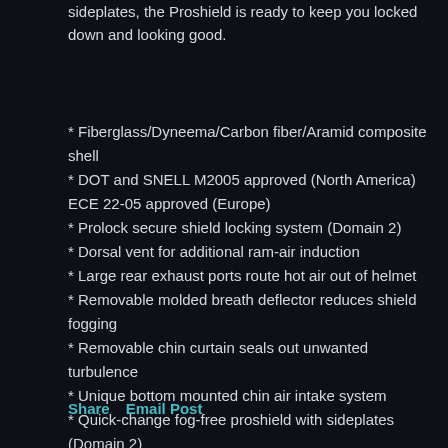sideplates, the Proshield is ready to keep you locked down and looking good.
* Fiberglass/Dyneema/Carbon fiber/Aramid composite shell
* DOT and SNELL M2005 approved (North America) ECE 22-05 approved (Europe)
* Prolock secure shield locking system (Domain 2)
* Dorsal vent for additional ram-air induction
* Large rear exhaust ports route hot air out of helmet
* Removable molded breath deflector reduces shield fogging
* Removable chin curtain seals out unwanted turbulence
* Unique bottom mounted chin air intake system
* Quick-change fog-free proshield with sideplates (Domain 2)
* Quick-change fog-free eye shield (Domain)
Share   Email Post